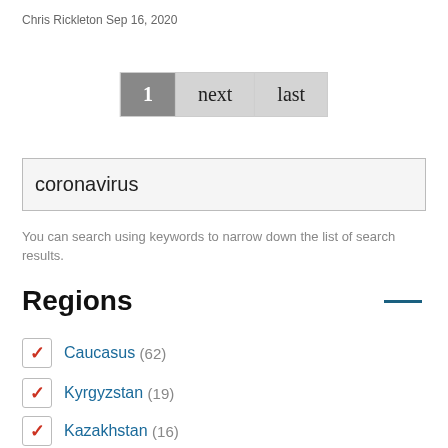Chris Rickleton Sep 16, 2020
1  next  last
coronavirus
You can search using keywords to narrow down the list of search results.
Regions
Caucasus (62)
Kyrgyzstan (19)
Kazakhstan (16)
Abkhazia (4)